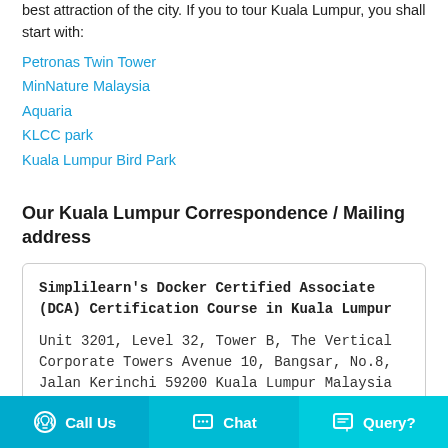best attraction of the city. If you to tour Kuala Lumpur, you shall start with:
Petronas Twin Tower
MinNature Malaysia
Aquaria
KLCC park
Kuala Lumpur Bird Park
Our Kuala Lumpur Correspondence / Mailing address
Simplilearn's Docker Certified Associate (DCA) Certification Course in Kuala Lumpur

Unit 3201, Level 32, Tower B, The Vertical Corporate Towers Avenue 10, Bangsar, No.8, Jalan Kerinchi 59200 Kuala Lumpur Malaysia
Call Us  Chat  Query?